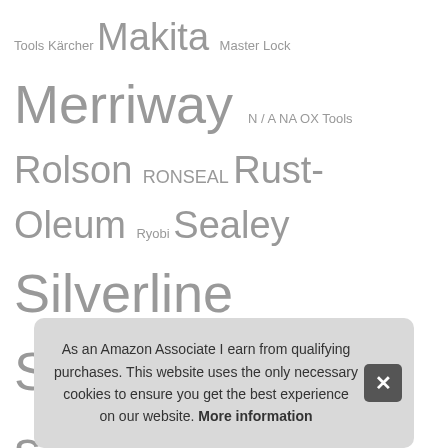Tools Kärcher Makita Master Lock Merriway N / A NA OX Tools Rolson RONSEAL Rust-Oleum Ryobi Sealey Silverline Sourcingmap sourcing map Stanley Sterling TREND Unibond Unknown VonHaus White Hinge Wolfcraft WORKPRO XFORT Yale
Recent Posts
Top 10 Stencils for Painting Reusable UK – Drawing & Lettering Aids
T...
T... Ada...
T...
As an Amazon Associate I earn from qualifying purchases. This website uses the only necessary cookies to ensure you get the best experience on our website. More information